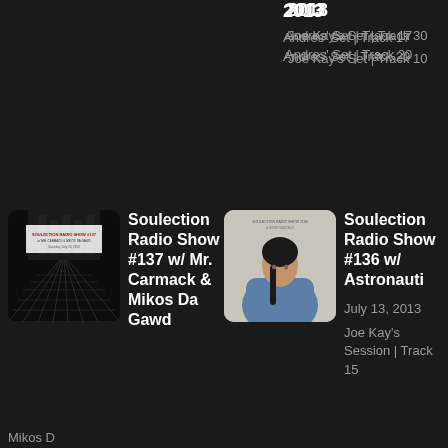2013
Andres' Set | Track 17
Andres' Set | Track 20
2013
Joe Kay's Set | Track 30
Joe Kay's Set | Track 10
[Figure (photo): Album art for Soulection Radio Show #137 - black and white architectural/geometric image with event text overlay]
Soulection Radio Show #137 w/ Mr. Carmack & Mikos Da Gawd
Mikos D
[Figure (photo): Album art for Soulection Radio Show #136 - portrait photo of a woman in a blue denim jacket with arms crossed]
Soulection Radio Show #136 w/ Astronauti
July 13, 2013
Joe Kay's Session | Track 15